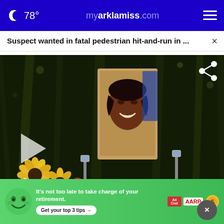78° myarklamiss.com
Suspect wanted in fatal pedestrian hit-and-run in ...
[Figure (photo): Memorial vigil photo showing a smiling young woman's portrait propped among flowers including yellow sunflowers and a red rose, at night on grass, with a play button overlay indicating a video]
Cancer
Cancer | Sponsored Links
[Figure (infographic): AARP advertisement banner: green background with cartoon face, text 'It's not too late to take charge of your retirement. Get your top 3 tips →' with Ad Council and AARP logos and coin icon]